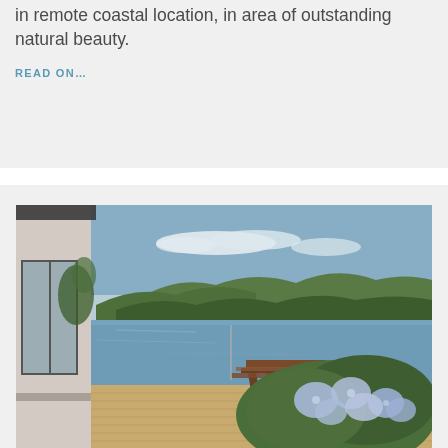in remote coastal location, in area of outstanding natural beauty.
READ ON…
[Figure (photo): Photograph of a coastal property with a wooden deck/patio, flowering hydrangea bushes with purple/blue flowers in the foreground, a picnic table on the deck, and a scenic view of a loch or sea inlet with green hills in the background under a blue sky.]